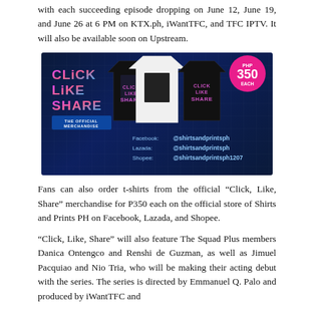with each succeeding episode dropping on June 12, June 19, and June 26 at 6 PM on KTX.ph, iWantTFC, and TFC IPTV. It will also be available soon on Upstream.
[Figure (photo): Click, Like, Share official merchandise advertisement showing three t-shirts (two black, one white) with the show logo, priced at PHP 350 each. Social media handles shown: Facebook: @shirtsandprintsph, Lazada: @shirtsandprintsph, Shopee: @shirtsandprintsph1207]
Fans can also order t-shirts from the official “Click, Like, Share” merchandise for P350 each on the official store of Shirts and Prints PH on Facebook, Lazada, and Shopee.
“Click, Like, Share” will also feature The Squad Plus members Danica Ontengco and Renshi de Guzman, as well as Jimuel Pacquiao and Nio Tria, who will be making their acting debut with the series. The series is directed by Emmanuel Q. Palo and produced by iWantTFC and